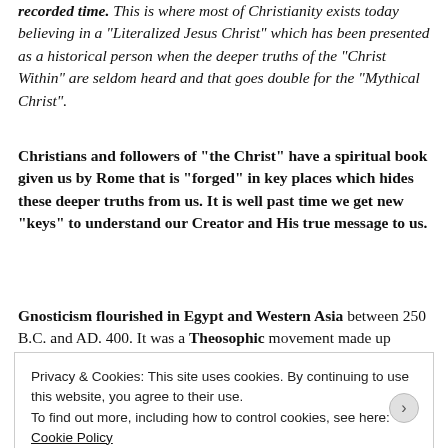recorded time. This is where most of Christianity exists today believing in a "Literalized Jesus Christ" which has been presented as a historical person when the deeper truths of the "Christ Within" are seldom heard and that goes double for the "Mythical Christ".
Christians and followers of "the Christ" have a spiritual book given us by Rome that is "forged" in key places which hides these deeper truths from us. It is well past time we get new "keys" to understand our Creator and His true message to us.
Gnosticism flourished in Egypt and Western Asia between 250 B.C. and AD. 400. It was a Theosophic movement made up
Privacy & Cookies: This site uses cookies. By continuing to use this website, you agree to their use.
To find out more, including how to control cookies, see here: Cookie Policy
Close and accept